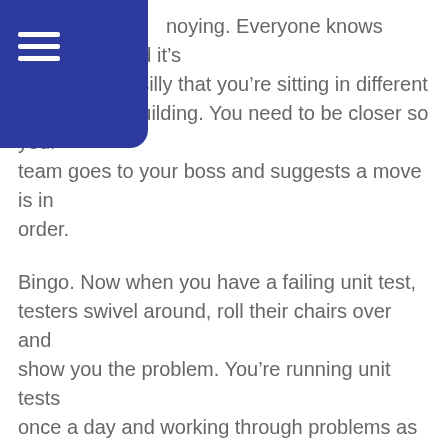noying. Everyone knows each other and it's rting to seem silly that you're sitting in different areas of the building. You need to be closer so your team goes to your boss and suggests a move is in order.
Bingo. Now when you have a failing unit test, testers swivel around, roll their chairs over and show you the problem. You're running unit tests once a day and working through problems as they come up instead of saving them to the end of the month.
Periodically you think back to the days it took you several months to run your first unit test and shake your head. It seemed like a logical way to do things but reality crushed you every time. You're at the point now where you're running your first unit test